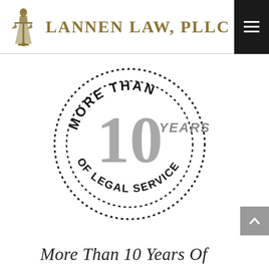LANNEN LAW, PLLC
[Figure (logo): Circular badge with dotted border reading 'MORE THAN' at top and 'OF LEGAL SERVICE' at bottom, with large '10' and 'YEARS' in the center]
More Than 10 Years Of